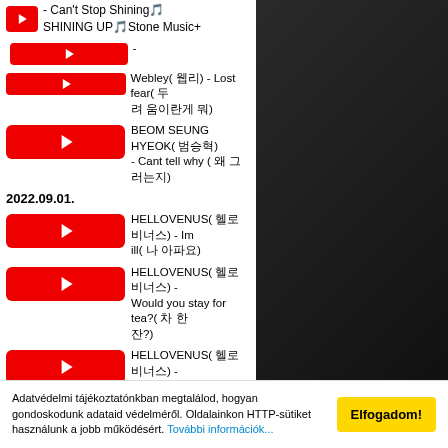▶ - Can't Stop Shining🎵 SHINING UP🎵Stone Music+
▶ -
▶ Webley( 웹리) - Lost fear( 두 려 움이란게 뭐)
▶ BEOM SEUNG HYEOK( 범승혁) - Cant tell why ( 왜 그 러는지)
2022.09.01.
▶ HELLOVENUS( 헬로비너스) - Im ill( 나 아파요)
▶ HELLOVENUS( 헬로비너스) - Would you stay for tea?( 차 한 잔?)
▶ HELLOVENUS( 헬로비너스) - Glow( 빛이 났잖아)
▶ HELLOVENUS( 헬로비너스) -
Adatvédelmi tájékoztatónkban megtalálod, hogyan gondoskodunk adataid védelméről. Oldalainkon HTTP-sütiket használunk a jobb működésért. További információk...
Elfogadom!